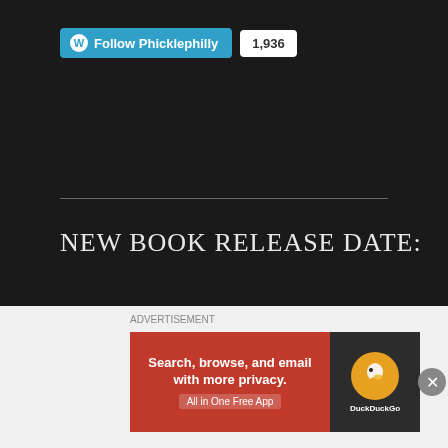[Figure (screenshot): WordPress Follow Phicklephilly button with follower count badge showing 1,936]
NEW BOOK RELEASE DATE:
[Figure (infographic): Book announcement box with title DOWN THE SHORE, date May 31, 2023, and countdown number 8]
[Figure (screenshot): DuckDuckGo advertisement banner: Search, browse, and email with more privacy. All in One Free App]